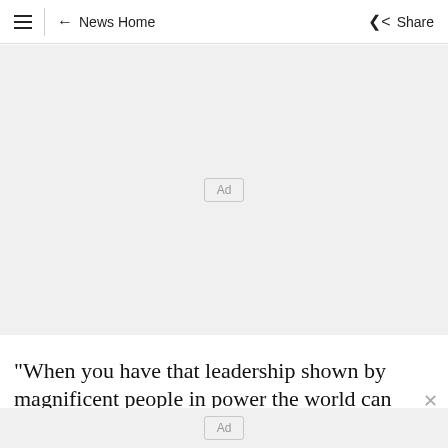≡ | ← News Home   Share
[Figure (other): Large grey advertisement placeholder box with 'Ad' label in the center]
"When you have that leadership shown by magnificent people in power the world can
[Figure (other): Small grey advertisement placeholder bar with 'Ad' label]